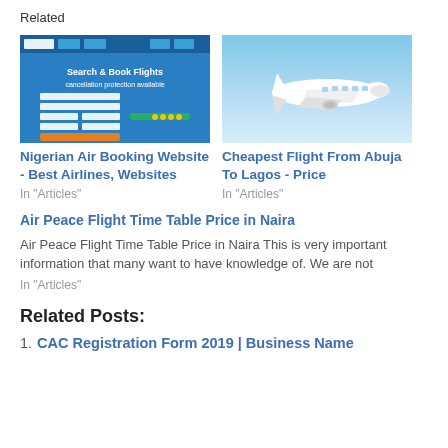Related
[Figure (screenshot): Screenshot of Nigerian Air booking website with search form fields and blue background]
[Figure (photo): Photo of a white commercial airplane flying against blue sky]
Nigerian Air Booking Website - Best Airlines, Websites
In "Articles"
Cheapest Flight From Abuja To Lagos - Price
In "Articles"
Air Peace Flight Time Table Price in Naira
Air Peace Flight Time Table Price in Naira This is very important information that many want to have knowledge of. We are not
In "Articles"
Related Posts:
1. CAC Registration Form 2019 | Business Name